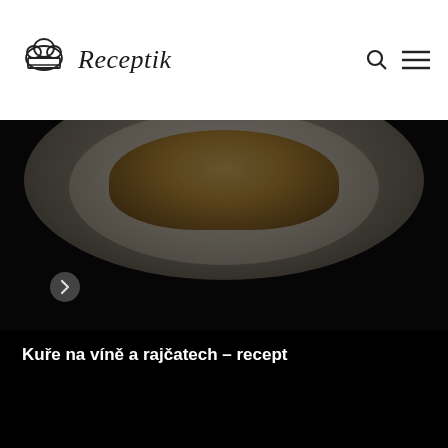Receptik
[Figure (photo): Food photo: a plate with cooked food (likely chicken) on a dark background, viewed from above/side. Dark atmospheric photograph.]
Kuře na víně a rajčatech – recept
[Figure (photo): Dark black area, likely bottom of the same food photograph continuing below the title card.]